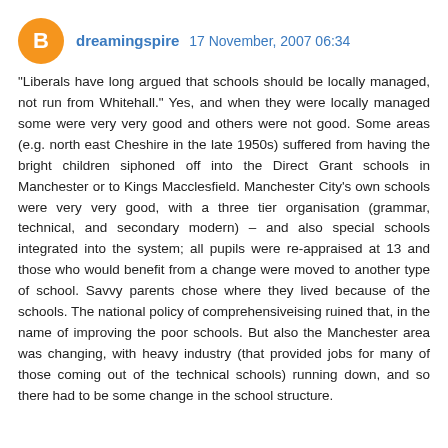dreamingspire 17 November, 2007 06:34
“Liberals have long argued that schools should be locally managed, not run from Whitehall.” Yes, and when they were locally managed some were very very good and others were not good. Some areas (e.g. north east Cheshire in the late 1950s) suffered from having the bright children siphoned off into the Direct Grant schools in Manchester or to Kings Macclesfield. Manchester City’s own schools were very very good, with a three tier organisation (grammar, technical, and secondary modern) – and also special schools integrated into the system; all pupils were re-appraised at 13 and those who would benefit from a change were moved to another type of school. Savvy parents chose where they lived because of the schools. The national policy of comprehensiveising ruined that, in the name of improving the poor schools. But also the Manchester area was changing, with heavy industry (that provided jobs for many of those coming out of the technical schools) running down, and so there had to be some change in the school structure.